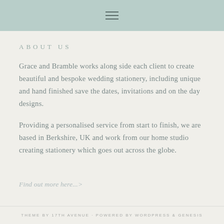≡
ABOUT US
Grace and Bramble works along side each client to create beautiful and bespoke wedding stationery, including unique and hand finished save the dates, invitations and on the day designs.
Providing a personalised service from start to finish, we are based in Berkshire, UK and work from our home studio creating stationery which goes out across the globe.
Find out more here...>
THEME BY 17TH AVENUE · POWERED BY WORDPRESS & GENESIS